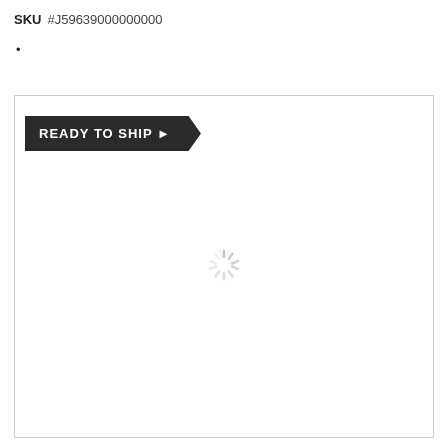SKU  #J59639000000000
•
[Figure (screenshot): Product image area with 'READY TO SHIP' banner and a loading spinner in the center]